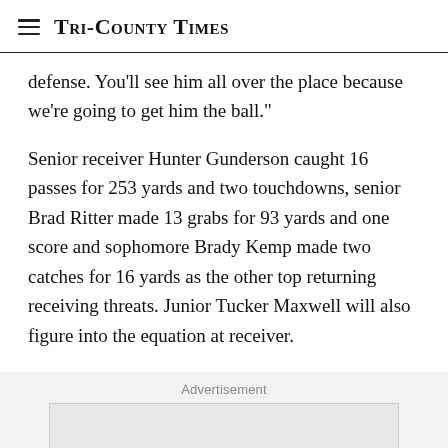Tri-County Times
defense. You’ll see him all over the place because we’re going to get him the ball.”
Senior receiver Hunter Gunderson caught 16 passes for 253 yards and two touchdowns, senior Brad Ritter made 13 grabs for 93 yards and one score and sophomore Brady Kemp made two catches for 16 yards as the other top returning receiving threats. Junior Tucker Maxwell will also figure into the equation at receiver.
Advertisement
[Figure (other): Advertisement placeholder box, light grey background with border]